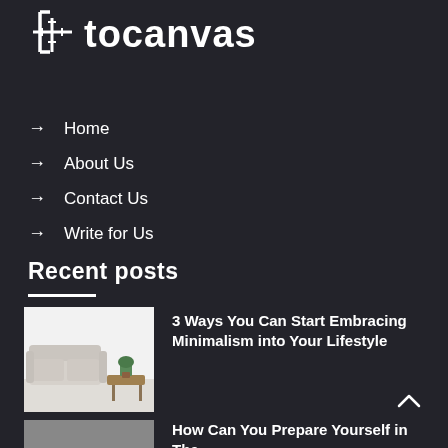[Figure (logo): tocanvas website logo with grid/bracket icon and bold text 'tocanvas']
→ Home
→ About Us
→ Contact Us
→ Write for Us
Recent posts
[Figure (photo): Photo of a minimalist living room with a white sofa, small plant, and wooden coffee table against a white wall]
3 Ways You Can Start Embracing Minimalism into Your Lifestyle
[Figure (photo): Partial photo visible at bottom of page]
How Can You Prepare Yourself in The